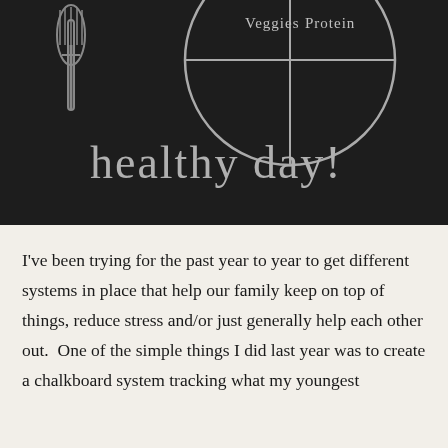[Figure (photo): Chalkboard image showing a plate divided into sections labeled 'Veggies' and 'Protein', with a fork icon on the left. Below the plate it reads 'healthy day!' in chalk lettering.]
I've been trying for the past year to year to get different systems in place that help our family keep on top of things, reduce stress and/or just generally help each other out.  One of the simple things I did last year was to create a chalkboard system tracking what my youngest